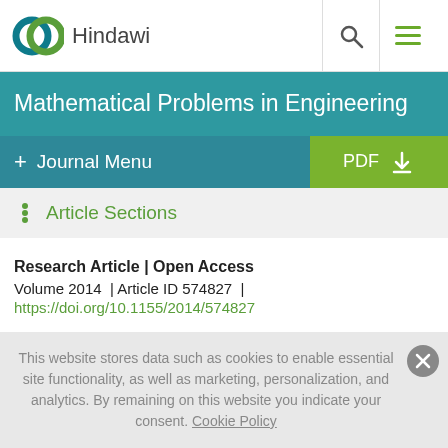Hindawi
Mathematical Problems in Engineering
+ Journal Menu | PDF
Article Sections
Research Article | Open Access
Volume 2014 | Article ID 574827 |
https://doi.org/10.1155/2014/574827
This website stores data such as cookies to enable essential site functionality, as well as marketing, personalization, and analytics. By remaining on this website you indicate your consent. Cookie Policy